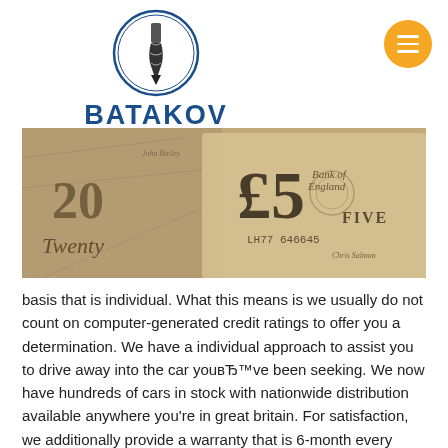[Figure (logo): Batakov Tools logo with drill bit in circle, blue BATAKOV text, orange TOOLS text with dashes]
[Figure (photo): Close-up photograph of British pound banknotes (£5 and £20) in sepia/monochrome tones]
basis that is individual. What this means is we usually do not count on computer-generated credit ratings to offer you a determination. We have a individual approach to assist you to drive away into the car youвЂ™ve been seeking. We now have hundreds of cars in stock with nationwide distribution available anywhere you're in great britain. For satisfaction, we additionally provide a warranty that is 6-month every automobile, which will help protect